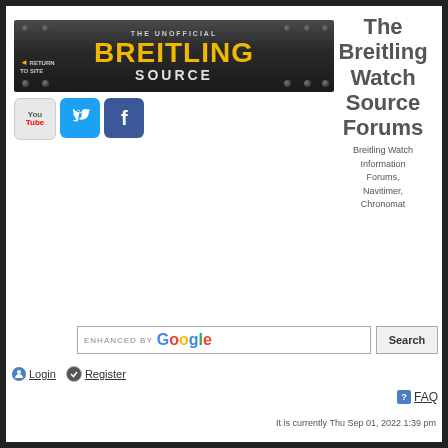[Figure (screenshot): The Unofficial Breitling Source banner with yellow Breitling text on dark riveted metal background, with Return to Site link]
[Figure (logo): YouTube logo icon]
[Figure (logo): Twitter bird logo icon in blue]
[Figure (logo): Facebook logo icon in blue]
The Breitling Watch Source Forums
Breitling Watch Information Forums, Navitimer, Chronomat
enhanced by Google
Search
Login
Register
FAQ
It is currently Thu Sep 01, 2022 1:39 pm